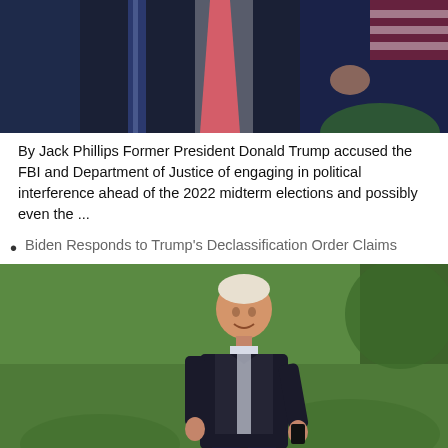[Figure (photo): Partial photo of former President Donald Trump in dark suit with red tie, American flags visible in background, cropped showing torso area]
By Jack Phillips Former President Donald Trump accused the FBI and Department of Justice of engaging in political interference ahead of the 2022 midterm elections and possibly even the ...
Biden Responds to Trump's Declassification Order Claims
[Figure (photo): President Joe Biden walking on green lawn/grass, wearing dark suit jacket, smiling, White House grounds]
By Jack Phillips President Joe Biden issued a response to